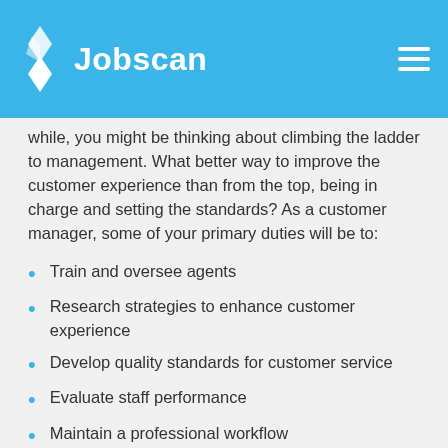Jobscan
while, you might be thinking about climbing the ladder to management. What better way to improve the customer experience than from the top, being in charge and setting the standards? As a customer manager, some of your primary duties will be to:
Train and oversee agents
Research strategies to enhance customer experience
Develop quality standards for customer service
Evaluate staff performance
Maintain a professional workflow
Address and resolve customer concerns